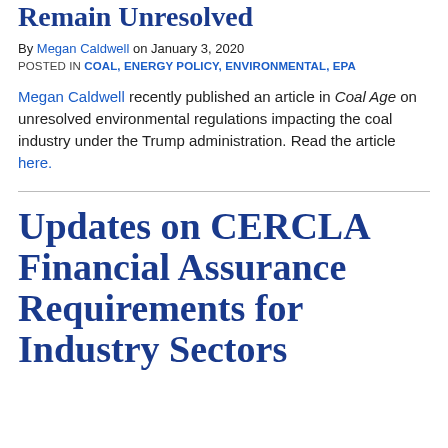Remain Unresolved
By Megan Caldwell on January 3, 2020
POSTED IN COAL, ENERGY POLICY, ENVIRONMENTAL, EPA
Megan Caldwell recently published an article in Coal Age on unresolved environmental regulations impacting the coal industry under the Trump administration. Read the article here.
Updates on CERCLA Financial Assurance Requirements for Industry Sectors